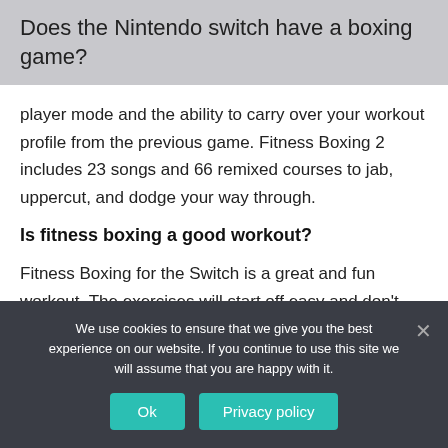Does the Nintendo switch have a boxing game?
player mode and the ability to carry over your workout profile from the previous game. Fitness Boxing 2 includes 23 songs and 66 remixed courses to jab, uppercut, and dodge your way through.
Is fitness boxing a good workout?
Fitness Boxing for the Switch is a great and fun workout. The exercises will start off easy and don't feel like much but the intensity can be increased, the song speed can be sped up and you can add more moves after the demos.
We use cookies to ensure that we give you the best experience on our website. If you continue to use this site we will assume that you are happy with it.